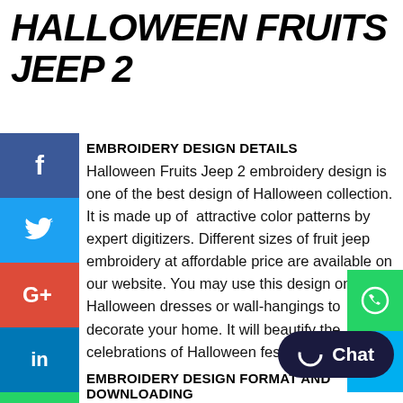HALLOWEEN FRUITS JEEP 2
EMBROIDERY DESIGN DETAILS
Halloween Fruits Jeep 2 embroidery design is one of the best design of Halloween collection. It is made up of attractive color patterns by expert digitizers. Different sizes of fruit jeep embroidery at affordable price are available on our website. You may use this design on your Halloween dresses or wall-hangings to decorate your home. It will beautify the celebrations of Halloween festival.
EMBROIDERY DESIGN FORMAT AND DOWNLOADING
Halloween fruit embroidery is available in different formats and can be edited to further formats at your request. Make the payment if you want to buy the design. An instant Download link will be sent to you on your device. Download the link and enjoy the design. Contact us if there is a difficulty in downloading the link. We will resend it to